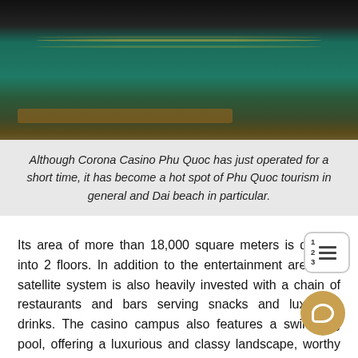[Figure (photo): Casino dealer at a green felt gaming table, hands visible dealing cards, casino chips and table markings visible]
Although Corona Casino Phu Quoc has just operated for a short time, it has become a hot spot of Phu Quoc tourism in general and Dai beach in particular.
Its area of more than 18,000 square meters is divided into 2 floors. In addition to the entertainment area, the satellite system is also heavily invested with a chain of restaurants and bars serving snacks and luxurious drinks. The casino campus also features a swimming pool, offering a luxurious and classy landscape, worthy of the title “Las Vegas of Vietnam.”.
In the first half of the year, Casino Vietnam Phu Quoc earned a profit of over VND 600 billion, proving a great